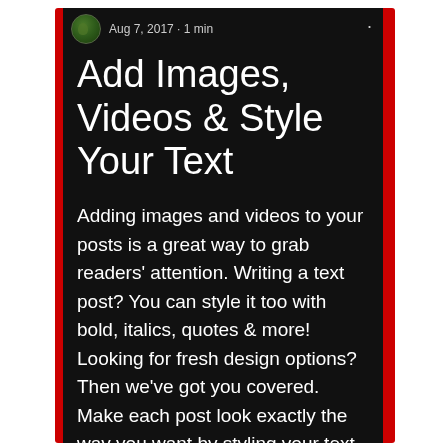Aug 7, 2017 · 1 min
Add Images, Videos & Style Your Text
Adding images and videos to your posts is a great way to grab readers' attention. Writing a text post? You can style it too with bold, italics, quotes & more! Looking for fresh design options? Then we've got you covered. Make each post look exactly the way you want by styling your text. Images & Videos You can also customize the look of your videos and